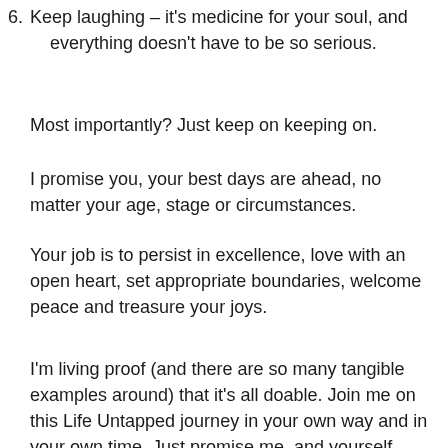6. Keep laughing – it's medicine for your soul, and everything doesn't have to be so serious.
Most importantly? Just keep on keeping on.
I promise you, your best days are ahead, no matter your age, stage or circumstances.
Your job is to persist in excellence, love with an open heart, set appropriate boundaries, welcome peace and treasure your joys.
I'm living proof (and there are so many tangible examples around) that it's all doable. Join me on this Life Untapped journey in your own way and in your own time. Just promise me, and yourself, that you'll keep going.
[Figure (photo): Partial photo visible at bottom of page with light gray background]